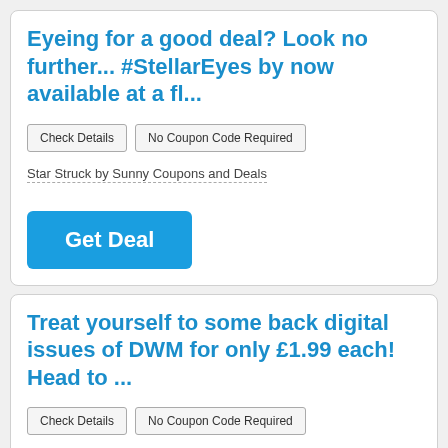Eyeing for a good deal? Look no further... #StellarEyes by now available at a fl...
Check Details | No Coupon Code Required
Star Struck by Sunny Coupons and Deals
Get Deal
Treat yourself to some back digital issues of DWM for only £1.99 each! Head to ...
Check Details | No Coupon Code Required